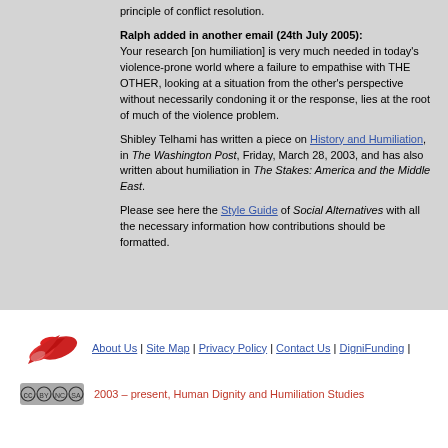principle of conflict resolution.
Ralph added in another email (24th July 2005): Your research [on humiliation] is very much needed in today's violence-prone world where a failure to empathise with THE OTHER, looking at a situation from the other's perspective without necessarily condoning it or the response, lies at the root of much of the violence problem.
Shibley Telhami has written a piece on History and Humiliation, in The Washington Post, Friday, March 28, 2003, and has also written about humiliation in The Stakes: America and the Middle East.
Please see here the Style Guide of Social Alternatives with all the necessary information how contributions should be formatted.
About Us | Site Map | Privacy Policy | Contact Us | DigniFunding |
2003 – present, Human Dignity and Humiliation Studies